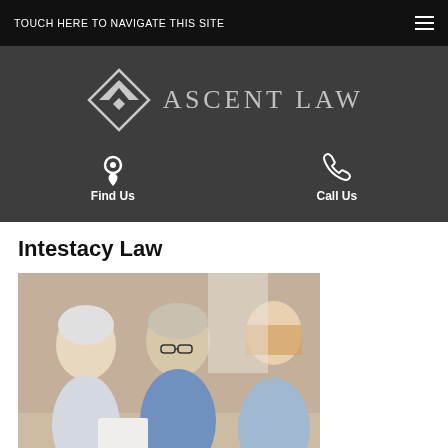TOUCH HERE TO NAVIGATE THIS SITE
[Figure (logo): Ascent Law logo with diamond chevron icon and text 'ASCENT LAW' on dark grey background, with Find Us and Call Us contact icons below]
Intestacy Law
[Figure (photo): Photo of two elderly people (man and woman) sitting with a younger blonde woman, appearing to review documents in a consultation setting]